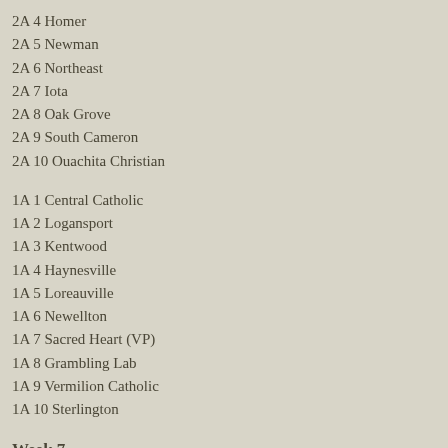2A 4 Homer
2A 5 Newman
2A 6 Northeast
2A 7 Iota
2A 8 Oak Grove
2A 9 South Cameron
2A 10 Ouachita Christian
1A 1 Central Catholic
1A 2 Logansport
1A 3 Kentwood
1A 4 Haynesville
1A 5 Loreauville
1A 6 Newellton
1A 7 Sacred Heart (VP)
1A 8 Grambling Lab
1A 9 Vermilion Catholic
1A 10 Sterlington
Week 7